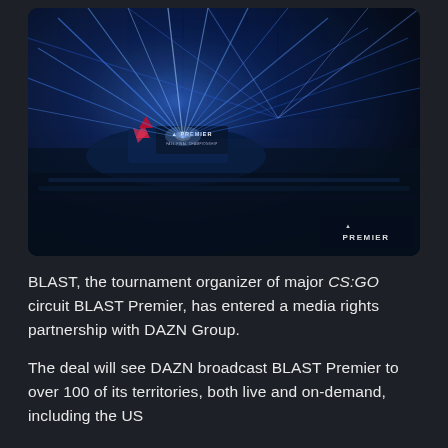[Figure (photo): Aerial view of a BLAST Premier esports event arena with dramatic blue laser light beams radiating from the stage over a packed crowd. The BLAST Premier logo is visible on the main stage display and in the bottom-right corner of the image.]
BLAST, the tournament organizer of major CS:GO circuit BLAST Premier, has entered a media rights partnership with DAZN Group.
The deal will see DAZN broadcast BLAST Premier to over 100 of its territories, both live and on-demand, including the US